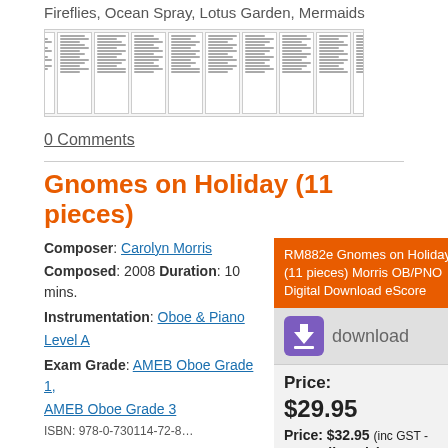Fireflies, Ocean Spray, Lotus Garden, Mermaids
[Figure (other): Thumbnail preview of sheet music pages arranged in a horizontal row]
0 Comments
Gnomes on Holiday (11 pieces)
Composer: Carolyn Morris
Composed: 2008 Duration: 10 mins.
Instrumentation: Oboe & Piano Level A
Exam Grade: AMEB Oboe Grade 1, AMEB Oboe Grade 3
RM882e Gnomes on Holiday (11 pieces) Morris OB/PNO Digital Download eScore
[Figure (other): Download button with purple arrow icon and grey button labeled 'download']
Price: $29.95
Price: $32.95 (inc GST - Australia only)